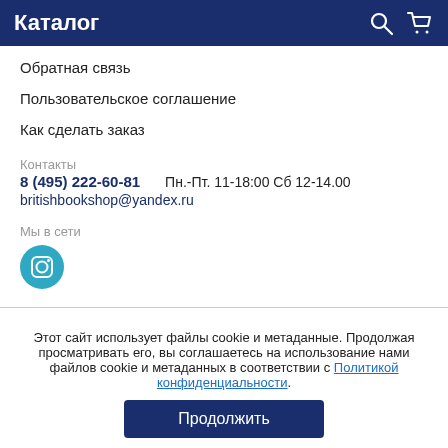Каталог
Обратная связь
Пользовательское соглашение
Как сделать заказ
Контакты
8 (495) 222-60-81       Пн.-Пт. 11-18:00 Сб 12-14.00
britishbookshop@yandex.ru
Мы в сети
[Figure (logo): Instagram icon — teal circular button with camera symbol]
Этот сайт использует файлы cookie и метаданные. Продолжая просматривать его, вы соглашаетесь на использование нами файлов cookie и метаданных в соответствии с Политикой конфиденциальности.
Продолжить